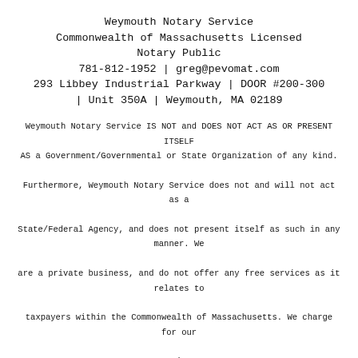Weymouth Notary Service
Commonwealth of Massachusetts Licensed Notary Public
781-812-1952 | greg@pevomat.com
293 Libbey Industrial Parkway | DOOR #200-300 | Unit 350A | Weymouth, MA 02189
Weymouth Notary Service IS NOT and DOES NOT ACT AS OR PRESENT ITSELF AS a Government/Governmental or State Organization of any kind. Furthermore, Weymouth Notary Service does not and will not act as a State/Federal Agency, and does not present itself as such in any manner. We are a private business, and do not offer any free services as it relates to taxpayers within the Commonwealth of Massachusetts. We charge for our services.
We are not attorneys of any kind, and do not provide legal advice of any kind.
MGL Section 17. (a) A notary public shall not advise clients, offer legal advice